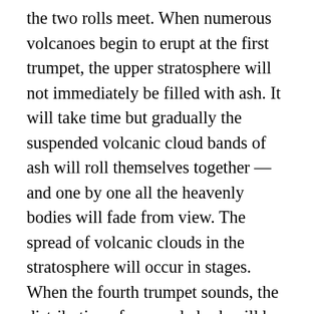the two rolls meet. When numerous volcanoes begin to erupt at the first trumpet, the upper stratosphere will not immediately be filled with ash. It will take time but gradually the suspended volcanic cloud bands of ash will roll themselves together — and one by one all the heavenly bodies will fade from view. The spread of volcanic clouds in the stratosphere will occur in stages. When the fourth trumpet sounds, the distribution of suspended ash will be such that at any given location the heavenly bodies will only be visible about one-third of a twenty-four-hour period. The complete filling of the earth's atmosphere does not occur until shortly after the fifth trumpet. By the last drop of the fourth vial, the injection of volcanic